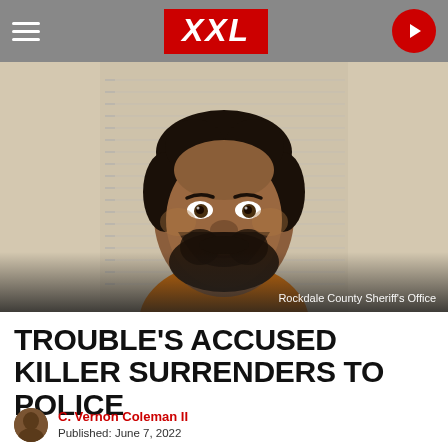XXL
[Figure (photo): Mugshot of a man in an orange jumpsuit against a police lineup background. Photo credit: Rockdale County Sheriff's Office]
Rockdale County Sheriff's Office
TROUBLE'S ACCUSED KILLER SURRENDERS TO POLICE
C. Vernon Coleman II
Published: June 7, 2022